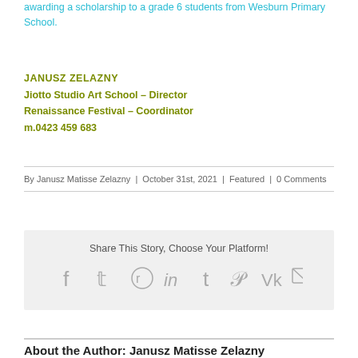awarding a scholarship to a grade 6 students from Wesburn Primary School.
JANUSZ ZELAZNY
Jiotto Studio Art School – Director
Renaissance Festival – Coordinator
m.0423 459 683
By Janusz Matisse Zelazny | October 31st, 2021 | Featured | 0 Comments
Share This Story, Choose Your Platform!
[Figure (other): Social sharing icons: Facebook, Twitter, Reddit, LinkedIn, Tumblr, Pinterest, Vk, Email]
About the Author: Janusz Matisse Zelazny